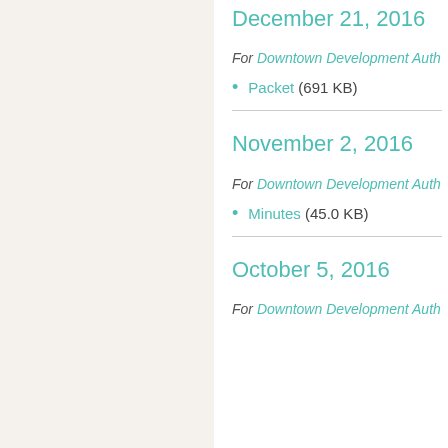December 21, 2016
For Downtown Development Auth
Packet (691 KB)
November 2, 2016
For Downtown Development Auth
Minutes (45.0 KB)
October 5, 2016
For Downtown Development Auth